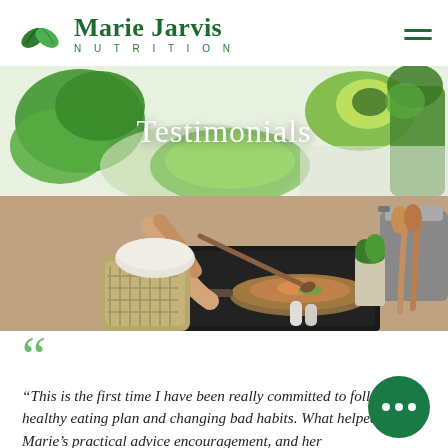[Figure (logo): Marie Jarvis Nutrition logo with two green leaves and brand name]
[Figure (photo): Hero image split: top half shows fresh green vegetables (kale, avocado, herbs) with 'Testimonials' text overlay; bottom half shows a person cooking on a stovetop with pots and spices]
Testimonials
“This is the first time I have been really committed to following a healthy eating plan and changing bad habits. What helped me is Marie’s practical advice encouragement, and her acknowledgement of food and nutrition.”